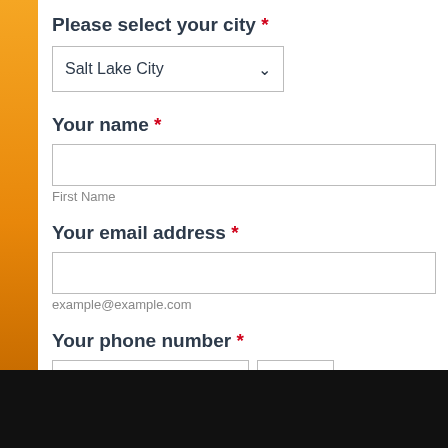Please select your city *
Salt Lake City (dropdown)
Your name *
First Name
Your email address *
example@example.com
Your phone number *